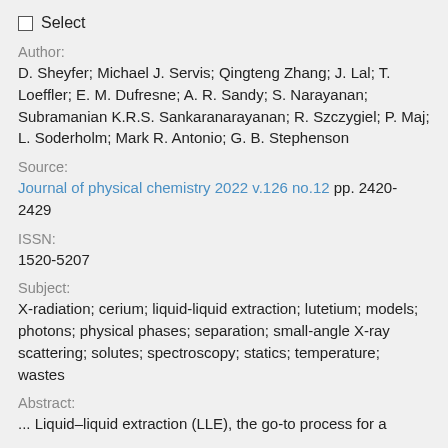Select
Author:
D. Sheyfer; Michael J. Servis; Qingteng Zhang; J. Lal; T. Loeffler; E. M. Dufresne; A. R. Sandy; S. Narayanan; Subramanian K.R.S. Sankaranarayanan; R. Szczygiel; P. Maj; L. Soderholm; Mark R. Antonio; G. B. Stephenson
Source:
Journal of physical chemistry 2022 v.126 no.12 pp. 2420-2429
ISSN:
1520-5207
Subject:
X-radiation; cerium; liquid-liquid extraction; lutetium; models; photons; physical phases; separation; small-angle X-ray scattering; solutes; spectroscopy; statics; temperature; wastes
Abstract:
... Liquid–liquid extraction (LLE), the go-to process for a